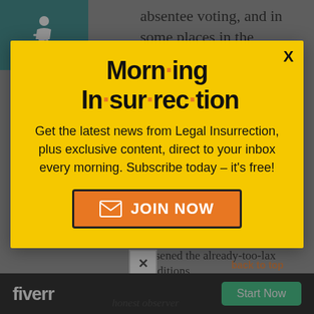[Figure (other): Wheelchair accessibility icon on teal/dark green background, top-left corner]
absentee voting, and in some places in the counting, although there's probably a fair
[Figure (infographic): Modal popup ad for Morning Insurrection newsletter with yellow background. Title reads 'Morn·ing In·sur·rec·tion' in bold black with orange dot separators. Subtitle: 'Get the latest news from Legal Insurrection, plus exclusive content, direct to your inbox every morning. Subscribe today – it's free!' with an orange JOIN NOW button with envelope icon. X close button top-right.]
loosened the already-too-lax conditions
[Figure (other): Fiverr advertisement banner on black background with white 'fiverr' logo and green 'Start Now' button]
honest observer